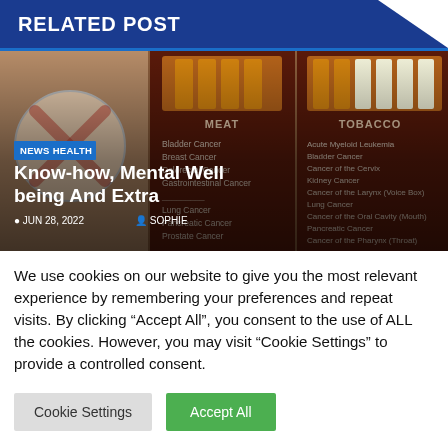RELATED POST
[Figure (photo): Composite image showing cigarette pack-style packaging for Meat and Tobacco products, listing various associated cancers, alongside a skull-and-crossbones danger symbol.]
Know-how, Mental Well being And Extra
NEWS HEALTH · JUN 28, 2022 · SOPHIE
We use cookies on our website to give you the most relevant experience by remembering your preferences and repeat visits. By clicking "Accept All", you consent to the use of ALL the cookies. However, you may visit "Cookie Settings" to provide a controlled consent.